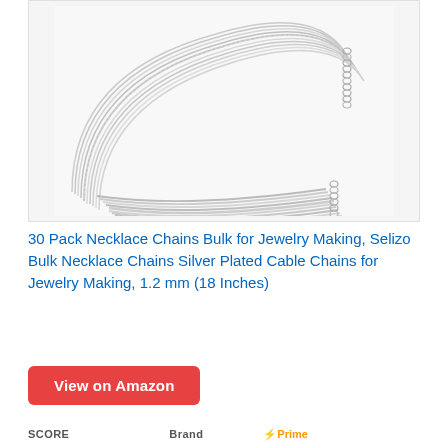[Figure (photo): Photo of 30 silver-plated necklace chains coiled in a bundle on a white background, showing lobster clasps at the ends.]
30 Pack Necklace Chains Bulk for Jewelry Making, Selizo Bulk Necklace Chains Silver Plated Cable Chains for Jewelry Making, 1.2 mm (18 Inches)
View on Amazon
SCORE   Brand   Prime